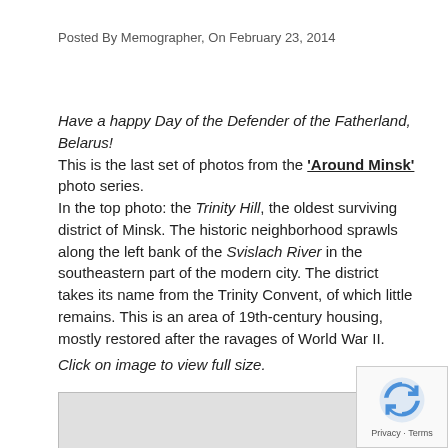Posted By Memographer, On February 23, 2014
Have a happy Day of the Defender of the Fatherland, Belarus!
This is the last set of photos from the 'Around Minsk' photo series.
In the top photo: the Trinity Hill, the oldest surviving district of Minsk. The historic neighborhood sprawls along the left bank of the Svislach River in the southeastern part of the modern city. The district takes its name from the Trinity Convent, of which little remains. This is an area of 19th-century housing, mostly restored after the ravages of World War II.
Click on image to view full size.
[Figure (photo): Partial image visible at bottom of page, appears to be a photo related to Trinity Hill or Minsk]